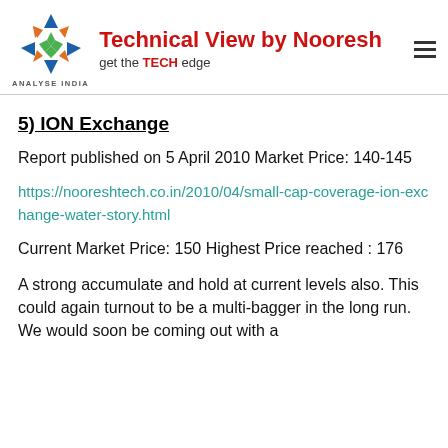Technical View by Nooresh — get the TECH edge | ANALYSE INDIA
5) ION Exchange
Report published on 5 April 2010 Market Price: 140-145
https://nooreshtech.co.in/2010/04/small-cap-coverage-ion-exchange-water-story.html
Current Market Price: 150 Highest Price reached : 176
A strong accumulate and hold at current levels also. This could again turnout to be a multi-bagger in the long run. We would soon be coming out with a